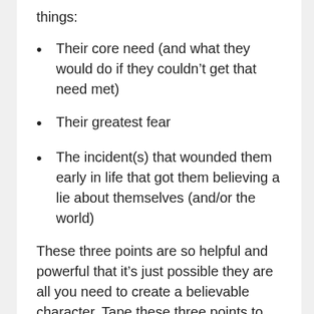things:
Their core need (and what they would do if they couldn't get that need met)
Their greatest fear
The incident(s) that wounded them early in life that got them believing a lie about themselves (and/or the world)
These three points are so helpful and powerful that it's just possible they are all you need to create a believable character. Tape these three points to your wall if you need to remember them! The last point is the most crucial and the one I spend the most time with. (I've created a detailed character development sheet, too, that you can download here and use for each of your main and secondary characters.)